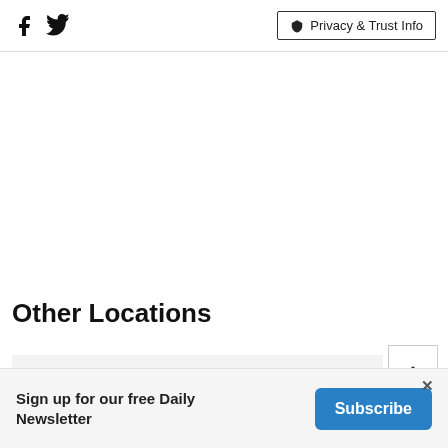Facebook Twitter | Privacy & Trust Info
Other Locations
ADVERTISEMENT
Sign up for our free Daily Newsletter  Subscribe